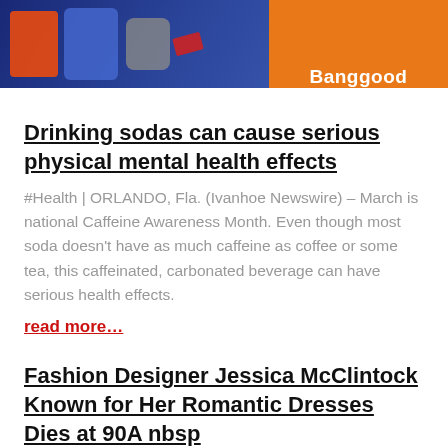[Figure (photo): Banggood advertisement banner showing electronic devices including a smartphone and projector with memory card, orange background with Banggood branding]
Drinking sodas can cause serious physical mental health effects
#Health | ORLANDO, Fla. (Ivanhoe Newswire) – March is national Caffeine Awareness Month. Even though most soda doesn't have as much caffeine as coffee or some tea, this caffeinated, carbonated beverage can have serious health effects.
read more…
Fashion Designer Jessica McClintock Known for Her Romantic Dresses Dies at 90A nbsp